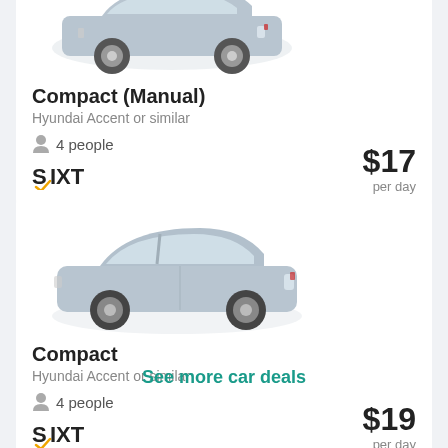[Figure (photo): Silver Hyundai Accent compact car, side/front view, top portion cropped]
Compact (Manual)
Hyundai Accent or similar
4 people
[Figure (logo): SIXT rent a car logo]
$17 per day
[Figure (photo): Silver Hyundai Accent compact car, side/front view]
Compact
Hyundai Accent or similar
4 people
[Figure (logo): SIXT rent a car logo]
$19 per day
See more car deals